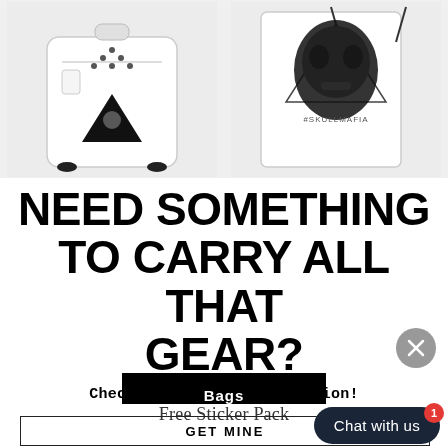[Figure (photo): Two white bags with skull graphic designs on light grey background — left: white backpack with skull triangle pattern, right: white drawstring bag with large skull #SkullMafia print]
NEED SOMETHING TO CARRY ALL THAT GEAR?
Check out our Bag Collection!
[Figure (other): Black button labeled 'Bags']
Free Sticker Pack
GET MINE
[Figure (other): Dark navy chat bubble button with 'Chat with us' text and red badge showing '1']